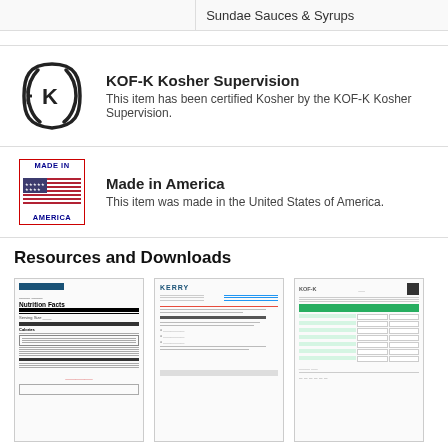Sundae Sauces & Syrups
KOF-K Kosher Supervision
This item has been certified Kosher by the KOF-K Kosher Supervision.
Made in America
This item was made in the United States of America.
Resources and Downloads
[Figure (screenshot): Thumbnail of Nutrition Facts document]
Nutrition
[Figure (screenshot): Thumbnail of Gluten Statement document]
Gluten Statement
[Figure (screenshot): Thumbnail of Kosher Certification document]
Kosher Certification